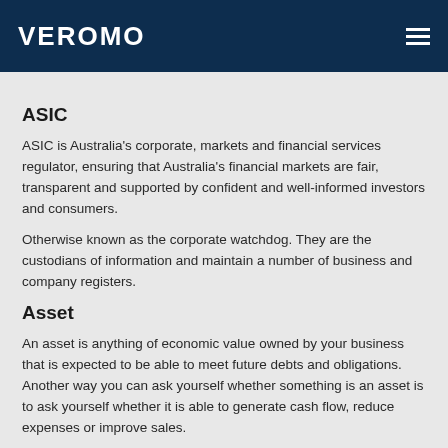VEROMO
ASIC
ASIC is Australia's corporate, markets and financial services regulator, ensuring that Australia's financial markets are fair, transparent and supported by confident and well-informed investors and consumers.
Otherwise known as the corporate watchdog. They are the custodians of information and maintain a number of business and company registers.
Asset
An asset is anything of economic value owned by your business that is expected to be able to meet future debts and obligations. Another way you can ask yourself whether something is an asset is to ask yourself whether it is able to generate cash flow, reduce expenses or improve sales.
Average Inventory